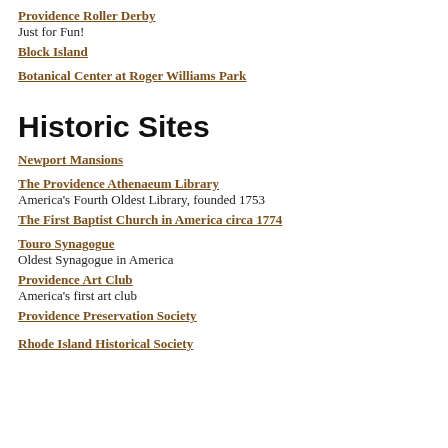Providence Roller Derby
Just for Fun!
Block Island
Botanical Center at Roger Williams Park
Historic Sites
Newport Mansions
The Providence Athenaeum Library
America's Fourth Oldest Library, founded 1753
The First Baptist Church in America circa 1774
Touro Synagogue
Oldest Synagogue in America
Providence Art Club
America's first art club
Providence Preservation Society
Rhode Island Historical Society